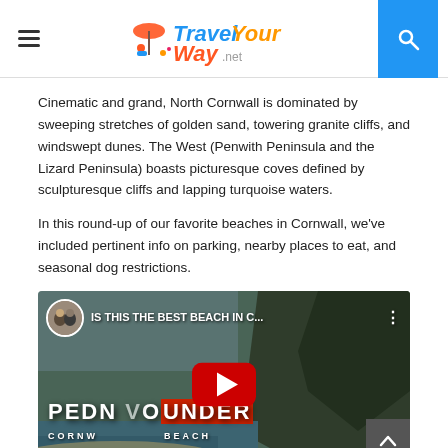Travel Your Way .net
Cinematic and grand, North Cornwall is dominated by sweeping stretches of golden sand, towering granite cliffs, and windswept dunes. The West (Penwith Peninsula and the Lizard Peninsula) boasts picturesque coves defined by sculpturesque cliffs and lapping turquoise waters.
In this round-up of our favorite beaches in Cornwall, we've included pertinent info on parking, nearby places to eat, and seasonal dog restrictions.
[Figure (screenshot): YouTube video thumbnail showing a beach scene with the text 'IS THIS THE BEST BEACH IN C...' and 'PEDN VOUNDER CORNWALL BEACH' with a YouTube play button overlay.]